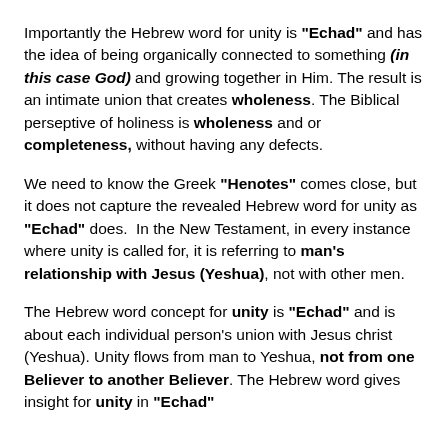Importantly the Hebrew word for unity is "Echad" and has the idea of being organically connected to something (in this case God) and growing together in Him. The result is an intimate union that creates wholeness. The Biblical perseptive of holiness is wholeness and or completeness, without having any defects.
We need to know the Greek "Henotes" comes close, but it does not capture the revealed Hebrew word for unity as "Echad" does. In the New Testament, in every instance where unity is called for, it is referring to man's relationship with Jesus (Yeshua), not with other men.
The Hebrew word concept for unity is "Echad" and is about each individual person's union with Jesus christ (Yeshua). Unity flows from man to Yeshua, not from one Believer to another Believer. The Hebrew word gives insight for unity in "Echad" and is about a union into union with Jesus is about a...